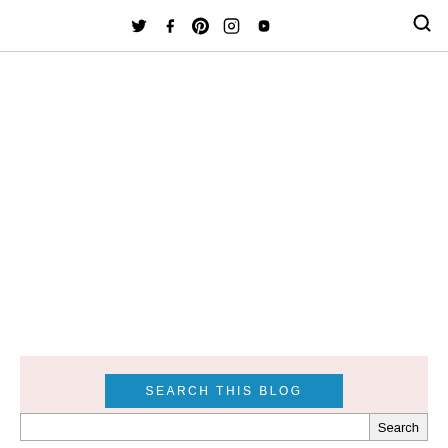Social media icons (Twitter, Facebook, Pinterest, Instagram, YouTube) and search icon
[Figure (other): SEARCH THIS BLOG button on pink background]
Search